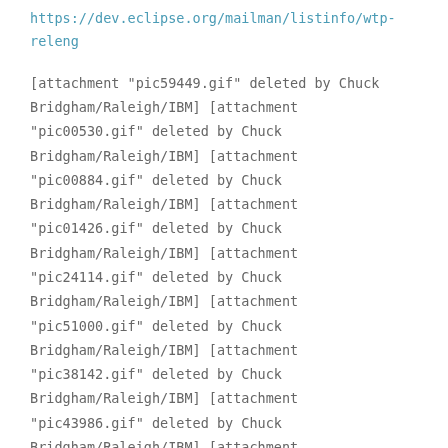https://dev.eclipse.org/mailman/listinfo/wtp-releng
[attachment "pic59449.gif" deleted by Chuck Bridgham/Raleigh/IBM] [attachment "pic00530.gif" deleted by Chuck Bridgham/Raleigh/IBM] [attachment "pic00884.gif" deleted by Chuck Bridgham/Raleigh/IBM] [attachment "pic01426.gif" deleted by Chuck Bridgham/Raleigh/IBM] [attachment "pic24114.gif" deleted by Chuck Bridgham/Raleigh/IBM] [attachment "pic51000.gif" deleted by Chuck Bridgham/Raleigh/IBM] [attachment "pic38142.gif" deleted by Chuck Bridgham/Raleigh/IBM] [attachment "pic43986.gif" deleted by Chuck Bridgham/Raleigh/IBM] [attachment "pic50395.gif" deleted by Chuck Bridgham/Raleigh/IBM] [attachment "pic35602.gif" deleted by Chuck Bridgham/Raleigh/IBM] [attachment "pic63630.gif" deleted by Chuck Bridgham/Raleigh/IBM]
wtp-releng mailing list
wtp-releng@xxxxxxxxxxx
https://dev.eclipse.org/mailman/listinfo/wtp-releng